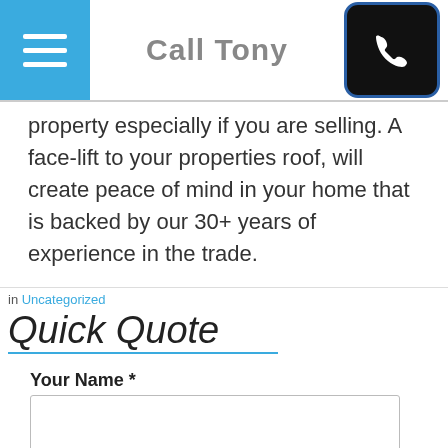Call Tony
property especially if you are selling. A face-lift to your properties roof, will create peace of mind in your home that is backed by our 30+ years of experience in the trade.
in Uncategorized
Quick Quote
Your Name *
Your Phone Number *